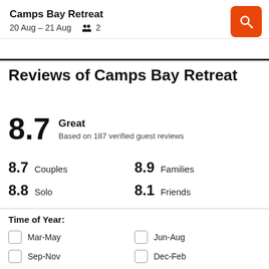Camps Bay Retreat
20 Aug – 21 Aug  👥 2
Reviews of Camps Bay Retreat
8.7  Great
Based on 187 verified guest reviews
8.7 Couples  8.9 Families
8.8 Solo  8.1 Friends
Time of Year:
Mar-May
Jun-Aug
Sep-Nov
Dec-Feb